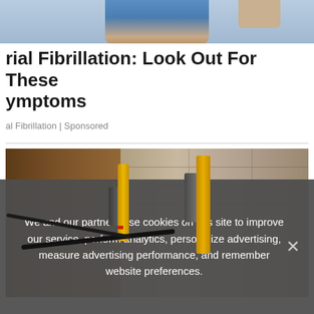[Figure (photo): Partial view of a person's legs in jeans and sandals, cropped at the top of the page]
rial Fibrillation: Look Out For These ymptoms
al Fibrillation | Sponsored
[Figure (photo): Construction/foundation repair photo showing yellow hydraulic jacking devices attached to a concrete block foundation wall, with black cables/hoses, dirt excavation on the left side]
We and our partners use cookies on this site to improve our service, perform analytics, personalize advertising, measure advertising performance, and remember website preferences.